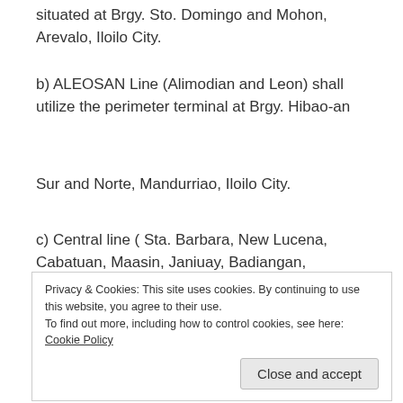situated at Brgy. Sto. Domingo and Mohon, Arevalo, Iloilo City.
b) ALEOSAN Line (Alimodian and Leon) shall utilize the perimeter terminal at Brgy. Hibao-an
Sur and Norte, Mandurriao, Iloilo City.
c) Central line ( Sta. Barbara, New Lucena, Cabatuan, Maasin, Janiuay, Badiangan, Lambunao,
Calinog, including Tapaz and Dumangas) shall be in the Perimeter Terminal at Brgy. Sambag
Privacy & Cookies: This site uses cookies. By continuing to use this website, you agree to their use. To find out more, including how to control cookies, see here: Cookie Policy
San Enrique, Passi City, Barotac